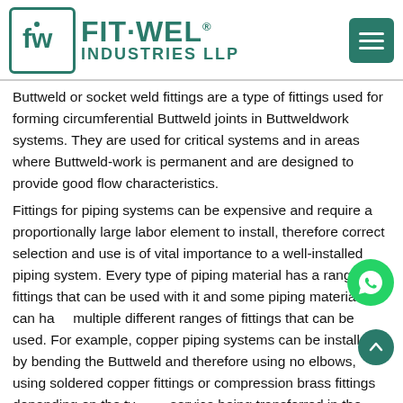[Figure (logo): Fit-Wel Industries LLP logo with teal/green color scheme, square logo box with 'fw' monogram, and hamburger menu icon on the right]
Buttweld or socket weld fittings are a type of fittings used for forming circumferential Buttweld joints in Buttweldwork systems. They are used for critical systems and in areas where Buttweld-work is permanent and are designed to provide good flow characteristics.
Fittings for piping systems can be expensive and require a proportionally large labor element to install, therefore correct selection and use is of vital importance to a well-installed piping system. Every type of piping material has a range of fittings that can be used with it and some piping materials can have multiple different ranges of fittings that can be used. For example, copper piping systems can be installed by bending the Buttweld and therefore using no elbows, using soldered copper fittings or compression brass fittings depending on the type of service being transferred in the copper Buttweld. Fittings a